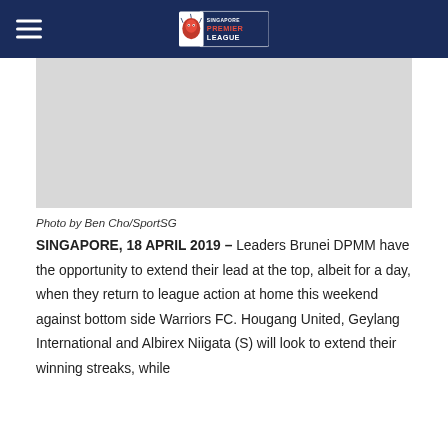Singapore Premier League
[Figure (photo): Photo placeholder area (grey/blank) for a Singapore Premier League match photo]
Photo by Ben Cho/SportSG
SINGAPORE, 18 APRIL 2019 – Leaders Brunei DPMM have the opportunity to extend their lead at the top, albeit for a day, when they return to league action at home this weekend against bottom side Warriors FC. Hougang United, Geylang International and Albirex Niigata (S) will look to extend their winning streaks, while